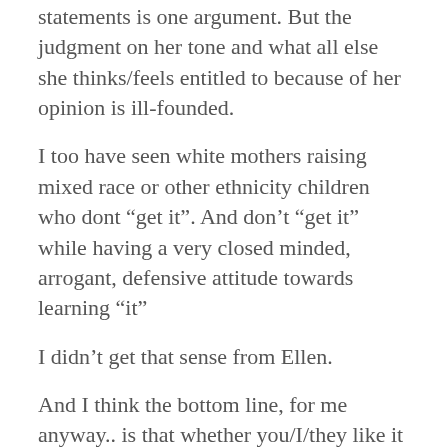statements is one argument. But the judgment on her tone and what all else she thinks/feels entitled to because of her opinion is ill-founded.
I too have seen white mothers raising mixed race or other ethnicity children who dont “get it”. And don’t “get it” while having a very closed minded, arrogant, defensive attitude towards learning “it”
I didn’t get that sense from Ellen.
And I think the bottom line, for me anyway.. is that whether you/I/they like it or not.. she DOES have a voice on this topic. Her child is half-black.. she is that child’s mother. She will be responsible for raising a half-black child in this world. It’s not race by association when you are the birthing mother of a mixed race child. And I don’t think this is about her